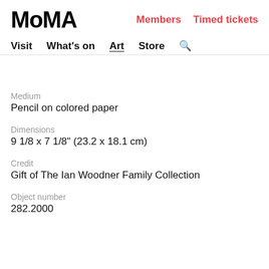MoMA
Members   Timed tickets
Visit   What's on   Art   Store   🔍
Medium
Pencil on colored paper
Dimensions
9 1/8 x 7 1/8" (23.2 x 18.1 cm)
Credit
Gift of The Ian Woodner Family Collection
Object number
282.2000